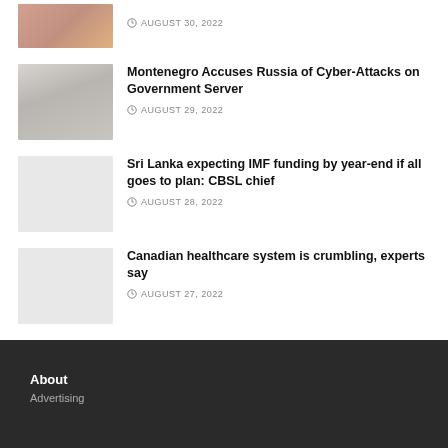AUGUST 30, 2022
Montenegro Accuses Russia of Cyber-Attacks on Government Server
AUGUST 29, 2022
Sri Lanka expecting IMF funding by year-end if all goes to plan: CBSL chief
AUGUST 28, 2022
Canadian healthcare system is crumbling, experts say
AUGUST 27, 2022
About